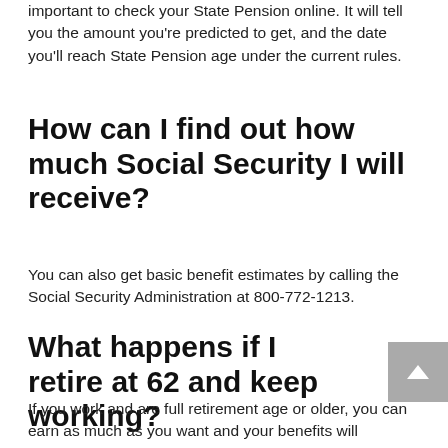important to check your State Pension online. It will tell you the amount you're predicted to get, and the date you'll reach State Pension age under the current rules.
How can I find out how much Social Security I will receive?
You can also get basic benefit estimates by calling the Social Security Administration at 800-772-1213.
What happens if I retire at 62 and keep working?
If you work and are full retirement age or older, you can earn as much as you want and your benefits will